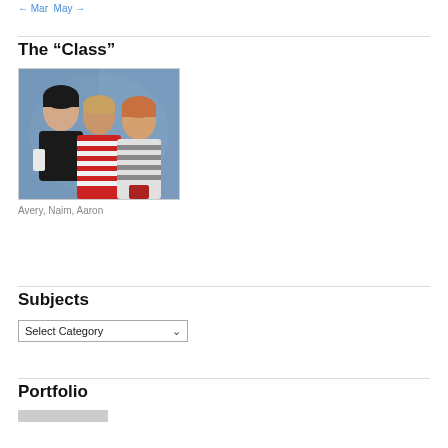← →
The “Class”
[Figure (photo): School portrait photo of three young boys against a blue background. Left boy wearing black shirt, middle boy wearing red/white striped shirt, right boy wearing striped shirt smiling. Names: Avery, Naim, Aaron.]
Avery, Naim, Aaron
Subjects
Select Category
Portfolio